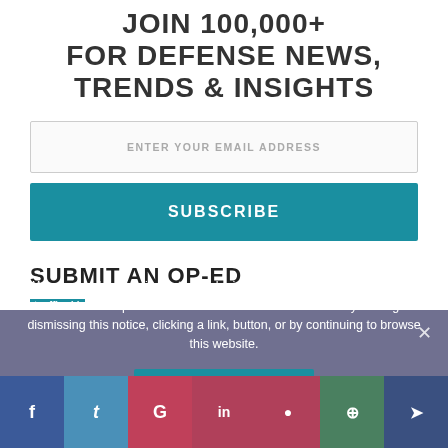JOIN 100,000+ FOR DEFENSE NEWS, TRENDS & INSIGHTS
ENTER YOUR EMAIL ADDRESS
SUBSCRIBE
SUBMIT AN OP-ED
We use cookies or similar technologies on our website to analyze our traffic. You accept the use of cookies or other identifiers by closing or dismissing this notice, clicking a link, button, or by continuing to browse this website.
AGREE